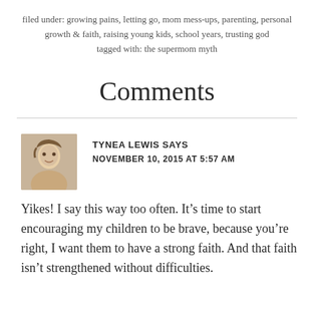filed under: growing pains, letting go, mom mess-ups, parenting, personal growth & faith, raising young kids, school years, trusting god
tagged with: the supermom myth
Comments
[Figure (photo): Profile photo of Tynea Lewis, a woman smiling, shown from shoulders up.]
TYNEA LEWIS SAYS
NOVEMBER 10, 2015 AT 5:57 AM
Yikes! I say this way too often. It’s time to start encouraging my children to be brave, because you’re right, I want them to have a strong faith. And that faith isn’t strengthened without difficulties.